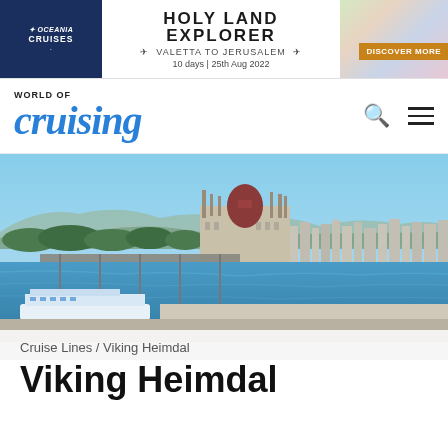[Figure (infographic): Oceania Cruises advertisement banner for Holy Land Explorer cruise: Valetta to Jerusalem, 10 days, 25th Aug 2022, with Discover More button and scenic photo]
[Figure (logo): World of Cruising website logo and navigation bar with search and hamburger menu icons]
[Figure (photo): Aerial photo of Budapest showing the Hungarian Parliament Building on the Danube river with a Viking river cruise ship]
Cruise Lines / Viking Heimdal
Viking Heimdal